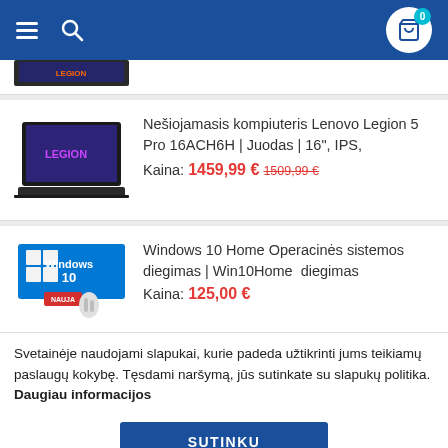Navigation bar with hamburger menu, search icon, and shopping cart (0 items)
[Figure (screenshot): Partially visible product card at top (laptop image cropped)]
Nešiojamasis kompiuteris Lenovo Legion 5 Pro 16ACH6H | Juodas | 16", IPS, Kaina: 1459,99 € 1509,99 €
Windows 10 Home Operacinės sistemos diegimas | Win10Home diegimas Kaina: 125,00 €
Svetainėje naudojami slapukai, kurie padeda užtikrinti jums teikiamų paslaugų kokybę. Tęsdami naršymą, jūs sutinkate su slapukų politika. Daugiau informacijos
SUTINKU